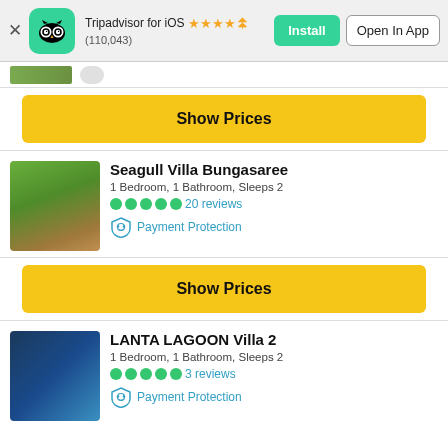[Figure (screenshot): Tripadvisor app banner with owl logo, star rating (110,043 reviews), Install and Open In App buttons]
[Figure (photo): Partial thumbnail of a villa listing at top]
Show Prices
[Figure (photo): Photo of Seagull Villa Bungasaree - wooden Thai-style villa surrounded by tropical trees]
Seagull Villa Bungasaree
1 Bedroom, 1 Bathroom, Sleeps 2
●●●●● 20 reviews
Payment Protection
Show Prices
[Figure (photo): Photo of LANTA LAGOON Villa 2 - modern villa with pool lit in blue]
LANTA LAGOON Villa 2
1 Bedroom, 1 Bathroom, Sleeps 2
●●●●● 3 reviews
Payment Protection